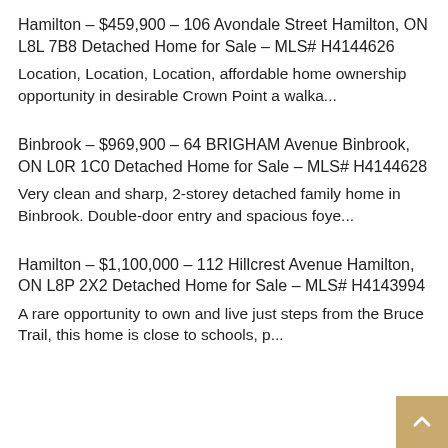Hamilton – $459,900 – 106 Avondale Street Hamilton, ON L8L 7B8 Detached Home for Sale – MLS# H4144626
Location, Location, Location, affordable home ownership opportunity in desirable Crown Point a walka...
Binbrook – $969,900 – 64 BRIGHAM Avenue Binbrook, ON L0R 1C0 Detached Home for Sale – MLS# H4144628
Very clean and sharp, 2-storey detached family home in Binbrook. Double-door entry and spacious foye...
Hamilton – $1,100,000 – 112 Hillcrest Avenue Hamilton, ON L8P 2X2 Detached Home for Sale – MLS# H4143994
A rare opportunity to own and live just steps from the Bruce Trail, this home is close to schools, p...